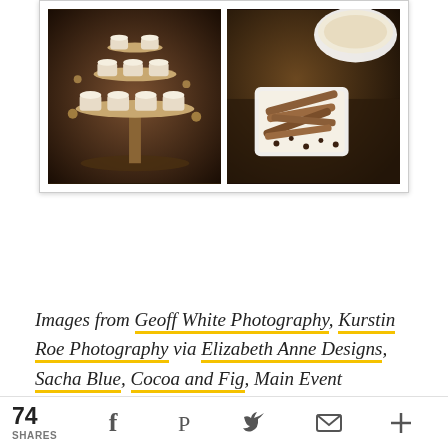[Figure (photo): Two food/dessert photos side by side in a white-bordered frame: left shows a tiered stand with small cups of desserts, right shows a white dish with cinnamon sticks and spices on a dark table]
Images from Geoff White Photography, Kurstin Roe Photography via Elizabeth Anne Designs, Sacha Blue, Cocoa and Fig, Main Event Productions, Beau-Coup, and
74 SHARES [Facebook] [Pinterest] [Twitter] [Email] [+]